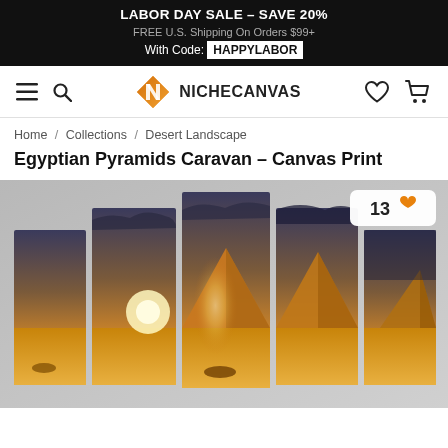LABOR DAY SALE – SAVE 20%
FREE U.S. Shipping On Orders $99+
With Code: HAPPYLABOR
[Figure (logo): NicheCanvas logo with stylized N diamond icon and text NICHECANVAS]
Home / Collections / Desert Landscape
Egyptian Pyramids Caravan – Canvas Print
[Figure (photo): Five-panel canvas print of Egyptian pyramids at sunset with camel caravan silhouettes in desert, golden warm tones, dramatic sky with clouds and sun on horizon. Wishlist badge showing 13 with heart icon in top right corner.]